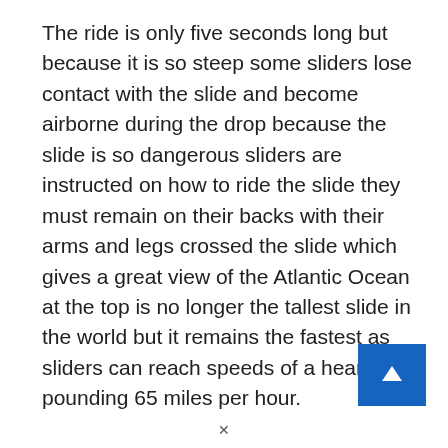The ride is only five seconds long but because it is so steep some sliders lose contact with the slide and become airborne during the drop because the slide is so dangerous sliders are instructed on how to ride the slide they must remain on their backs with their arms and legs crossed the slide which gives a great view of the Atlantic Ocean at the top is no longer the tallest slide in the world but it remains the fastest as sliders can reach speeds of a heart-pounding 65 miles per hour.